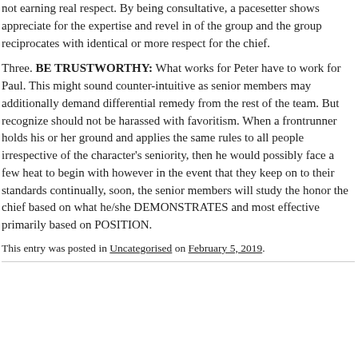not earning real respect. By being consultative, a pacesetter shows appreciate for the expertise and revel in of the group and the group reciprocates with identical or more respect for the chief.
Three. BE TRUSTWORTHY: What works for Peter have to work for Paul. This might sound counter-intuitive as senior members may additionally demand differential remedy from the rest of the team. But recognize should not be harassed with favoritism. When a frontrunner holds his or her ground and applies the same rules to all people irrespective of the character's seniority, then he would possibly face a few heat to begin with however in the event that they keep on to their standards continually, soon, the senior members will study the honor the chief based on what he/she DEMONSTRATES and most effective primarily based on POSITION.
This entry was posted in Uncategorised on February 5, 2019.